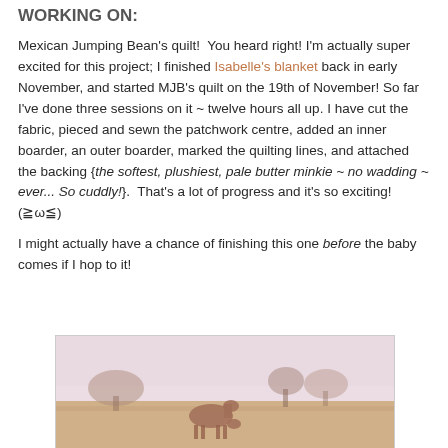WORKING ON:
Mexican Jumping Bean's quilt!  You heard right! I'm actually super excited for this project; I finished Isabelle's blanket back in early November, and started MJB's quilt on the 19th of November! So far I've done three sessions on it ~ twelve hours all up. I have cut the fabric, pieced and sewn the patchwork centre, added an inner boarder, an outer boarder, marked the quilting lines, and attached the backing {the softest, plushiest, pale butter minkie ~ no wadding ~ ever... So cuddly!}.  That's a lot of progress and it's so exciting! (≧ω≦)
I might actually have a chance of finishing this one before the baby comes if I hop to it!
[Figure (photo): A horse grazing in a field with trees in the background, photo has a faded pinkish-warm tone]